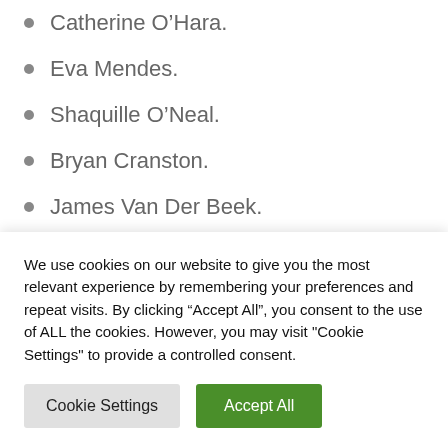Catherine O'Hara.
Eva Mendes.
Shaquille O'Neal.
Bryan Cranston.
James Van Der Beek.
Who died on 14 March?
The Most Historically Significant Person Who Died on this Day is Karl Marx.
We use cookies on our website to give you the most relevant experience by remembering your preferences and repeat visits. By clicking “Accept All”, you consent to the use of ALL the cookies. However, you may visit "Cookie Settings" to provide a controlled consent.